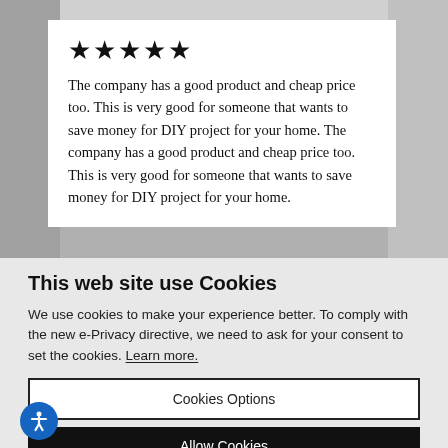★★★★★
The company has a good product and cheap price too. This is very good for someone that wants to save money for DIY project for your home. The company has a good product and cheap price too. This is very good for someone that wants to save money for DIY project for your home.
This web site use Cookies
We use cookies to make your experience better. To comply with the new e-Privacy directive, we need to ask for your consent to set the cookies. Learn more.
Cookies Options
Allow Cookies